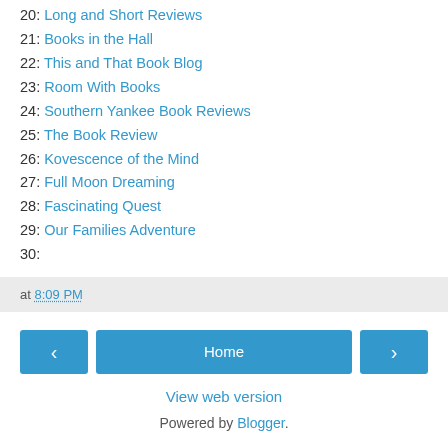20: Long and Short Reviews
21: Books in the Hall
22: This and That Book Blog
23: Room With Books
24: Southern Yankee Book Reviews
25: The Book Review
26: Kovescence of the Mind
27: Full Moon Dreaming
28: Fascinating Quest
29: Our Families Adventure
30:
at 8:09 PM
Home
View web version
Powered by Blogger.